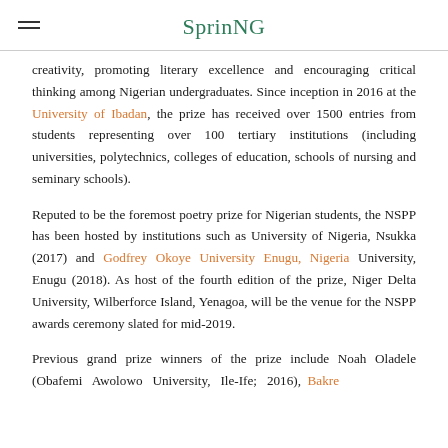SprinNG
creativity, promoting literary excellence and encouraging critical thinking among Nigerian undergraduates. Since inception in 2016 at the University of Ibadan, the prize has received over 1500 entries from students representing over 100 tertiary institutions (including universities, polytechnics, colleges of education, schools of nursing and seminary schools).
Reputed to be the foremost poetry prize for Nigerian students, the NSPP has been hosted by institutions such as University of Nigeria, Nsukka (2017) and Godfrey Okoye University Enugu, Nigeria University, Enugu (2018). As host of the fourth edition of the prize, Niger Delta University, Wilberforce Island, Yenagoa, will be the venue for the NSPP awards ceremony slated for mid-2019.
Previous grand prize winners of the prize include Noah Oladele (Obafemi Awolowo University, Ile-Ife; 2016), Bakre